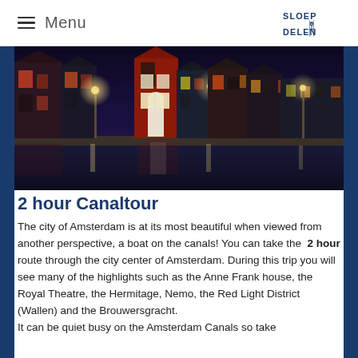Menu | Sloep Delen
[Figure (photo): Nighttime view of Amsterdam canal with illuminated historic buildings reflecting in the water, red-lit facades and street lights visible along the canal bank.]
2 hour Canaltour
The city of Amsterdam is at its most beautiful when viewed from another perspective, a boat on the canals! You can take the 2 hour route through the city center of Amsterdam. During this trip you will see many of the highlights such as the Anne Frank house, the Royal Theatre, the Hermitage, Nemo, the Red Light District (Wallen) and the Brouwersgracht. It can be quiet busy on the Amsterdam Canals so take